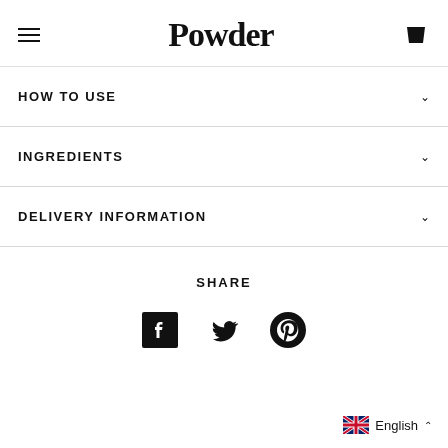Powder
HOW TO USE
INGREDIENTS
DELIVERY INFORMATION
SHARE
[Figure (other): Social sharing icons: Facebook, Twitter, Pinterest]
English